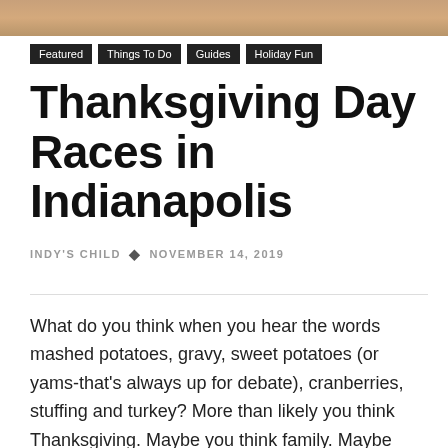[Figure (photo): Top banner image showing warm autumn-toned food or scene]
Featured   Things To Do   Guides   Holiday Fun
Thanksgiving Day Races in Indianapolis
INDY'S CHILD  •  NOVEMBER 14, 2019
What do you think when you hear the words mashed potatoes, gravy, sweet potatoes (or yams-that's always up for debate), cranberries, stuffing and turkey? More than likely you think Thanksgiving. Maybe you think family. Maybe you're envisioning the inevitable nap that happens during the post-meal